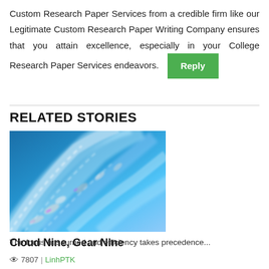Custom Research Paper Services from a credible firm like our Legitimate Custom Research Paper Writing Company ensures that you attain excellence, especially in your College Research Paper Services endeavors.
RELATED STORIES
[Figure (photo): Aerial view of cars on roads with motion blur, blue tones, fast movement]
Cloud Nine, Gear Nine
The focus has turned and efficiency takes precedence...
👁 7807 | LinhPTK